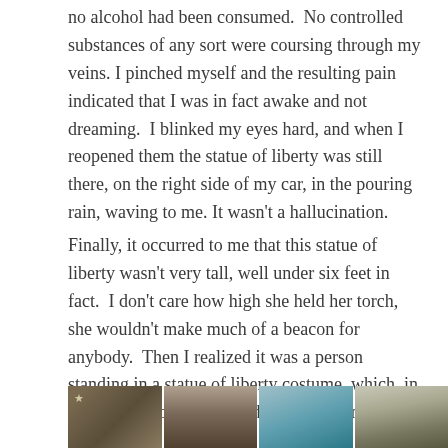no alcohol had been consumed.  No controlled substances of any sort were coursing through my veins. I pinched myself and the resulting pain indicated that I was in fact awake and not dreaming.  I blinked my eyes hard, and when I reopened them the statue of liberty was still there, on the right side of my car, in the pouring rain, waving to me. It wasn't a hallucination.
Finally, it occurred to me that this statue of liberty wasn't very tall, well under six feet in fact.  I don't care how high she held her torch, she wouldn't make much of a beacon for anybody.  Then I realized it was a person standing in a statue of liberty costume, which, in hindsight, probably shouldn't have taken so long to figure out.
[Figure (photo): A strip of four photographs at the bottom of the page showing outdoor scenes, including what appears to be street scenes with a Statue of Liberty costume figure visible in one segment.]